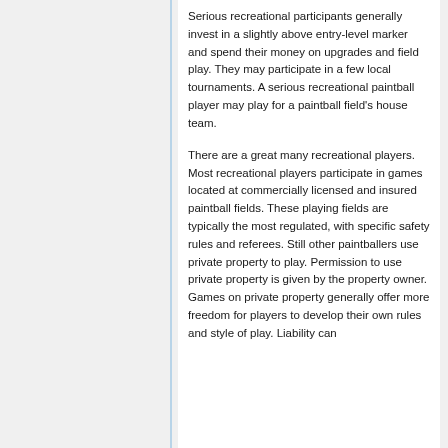Serious recreational participants generally invest in a slightly above entry-level marker and spend their money on upgrades and field play. They may participate in a few local tournaments. A serious recreational paintball player may play for a paintball field's house team.
There are a great many recreational players. Most recreational players participate in games located at commercially licensed and insured paintball fields. These playing fields are typically the most regulated, with specific safety rules and referees. Still other paintballers use private property to play. Permission to use private property is given by the property owner. Games on private property generally offer more freedom for players to develop their own rules and style of play. Liability can